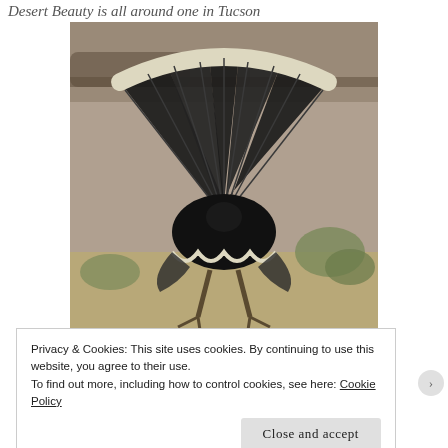Desert Beauty is all around one in Tucson
[Figure (photo): A wild turkey displaying its tail feathers in a fan shape, photographed from behind in a desert setting with logs and scrub vegetation in the background. The photo is in sepia/black-and-white tones.]
Privacy & Cookies: This site uses cookies. By continuing to use this website, you agree to their use.
To find out more, including how to control cookies, see here: Cookie Policy
Close and accept